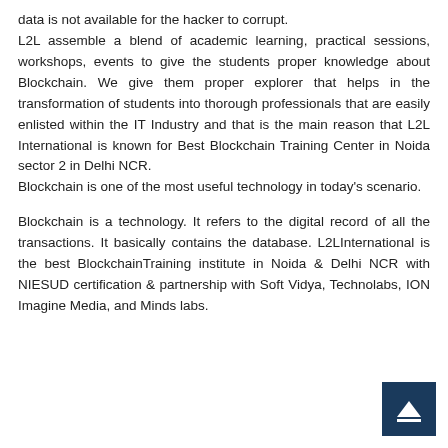data is not available for the hacker to corrupt. L2L assemble a blend of academic learning, practical sessions, workshops, events to give the students proper knowledge about Blockchain. We give them proper explorer that helps in the transformation of students into thorough professionals that are easily enlisted within the IT Industry and that is the main reason that L2L International is known for Best Blockchain Training Center in Noida sector 2 in Delhi NCR. Blockchain is one of the most useful technology in today's scenario.
Blockchain is a technology. It refers to the digital record of all the transactions. It basically contains the database. L2LInternational is the best BlockchainTraining institute in Noida & Delhi NCR with NIESUD certification & partnership with Soft Vidya, Technolabs, ION Imagine Media, and Minds labs.